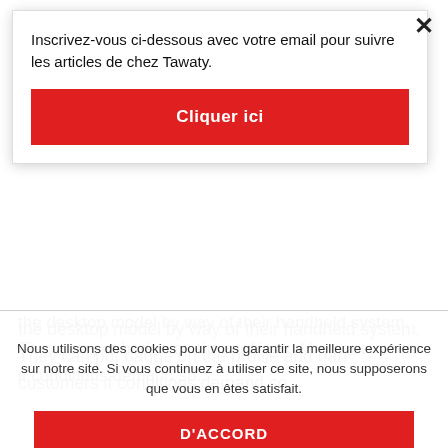Inscrivez-vous ci-dessous avec votre email pour suivre les articles de chez Tawaty.
[Figure (other): Red 'Cliquer ici' button]
the desktop model by way of their handheld system. They can pot badge on the profile and ban customers if conditions demand so.
You do not have to share your footage or some other data if you don't wish to. This website may be very effective for
Nous utilisons des cookies pour vous garantir la meilleure expérience sur notre site. Si vous continuez à utiliser ce site, nous supposerons que vous en êtes satisfait.
[Figure (other): Red 'D'ACCORD' cookie accept button]